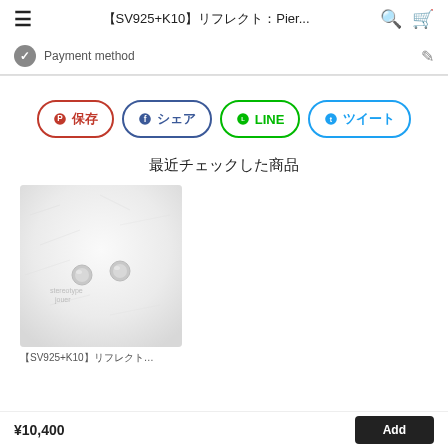【SV925+K10】リフレクト：Pier...
Payment method
[Figure (screenshot): Social share buttons: 保存 (Pinterest, red), シェア (Facebook, blue), LINE (green), ツイート (Twitter, blue)]
最近チェックした商品
[Figure (photo): Product photo of silver stud earrings on white fluffy fabric background with 'stereotype jouer' text watermark]
【SV925+K10】リフレクト…
¥10,400